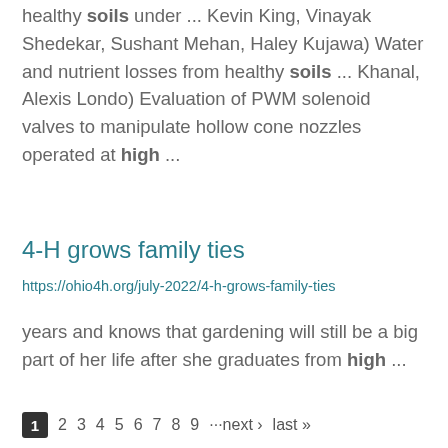healthy soils under ... Kevin King, Vinayak Shedekar, Sushant Mehan, Haley Kujawa) Water and nutrient losses from healthy soils ... Khanal, Alexis Londo) Evaluation of PWM solenoid valves to manipulate hollow cone nozzles operated at high ...
4-H grows family ties
https://ohio4h.org/july-2022/4-h-grows-family-ties
years and knows that gardening will still be a big part of her life after she graduates from high ...
1 2 3 4 5 6 7 8 9 ···next › last »